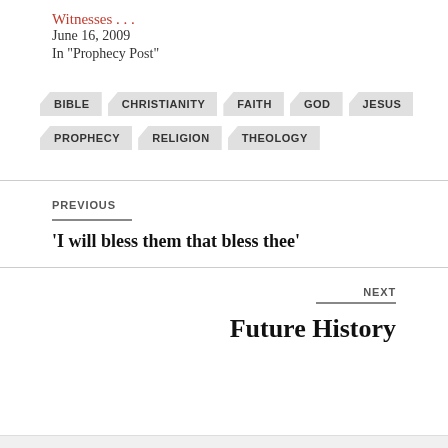Witnesses . . .
June 16, 2009
In "Prophecy Post"
BIBLE
CHRISTIANITY
FAITH
GOD
JESUS
PROPHECY
RELIGION
THEOLOGY
PREVIOUS
'I will bless them that bless thee'
NEXT
Future History